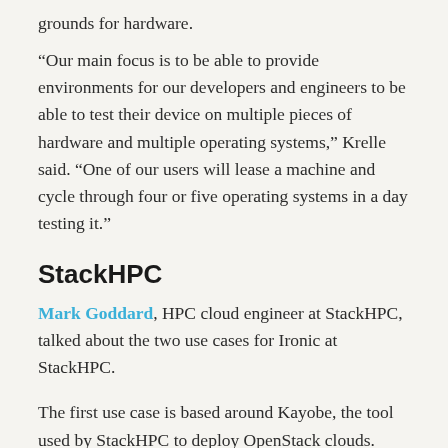grounds for hardware.
“Our main focus is to be able to provide environments for our developers and engineers to be able to test their device on multiple pieces of hardware and multiple operating systems,” Krelle said. “One of our users will lease a machine and cycle through four or five operating systems in a day testing it.”
StackHPC
Mark Goddard, HPC cloud engineer at StackHPC, talked about the two use cases for Ironic at StackHPC.
The first use case is based around Kayobe, the tool used by StackHPC to deploy OpenStack clouds.
“The seed host is a machine we set up that runs bifrost that runs Ironic in a standalone environment. It provides everything they need to provision the control plane, hypervisor and storage nodes. Ironic provides the